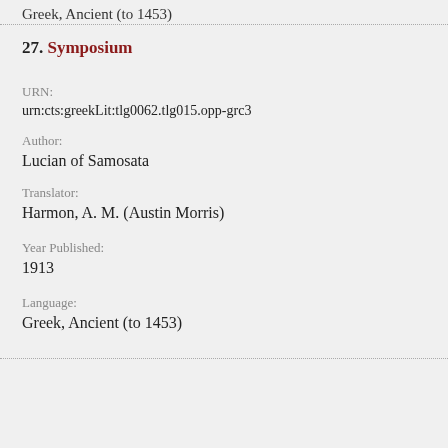Greek, Ancient (to 1453)
27. Symposium
URN:
urn:cts:greekLit:tlg0062.tlg015.opp-grc3
Author:
Lucian of Samosata
Translator:
Harmon, A. M. (Austin Morris)
Year Published:
1913
Language:
Greek, Ancient (to 1453)